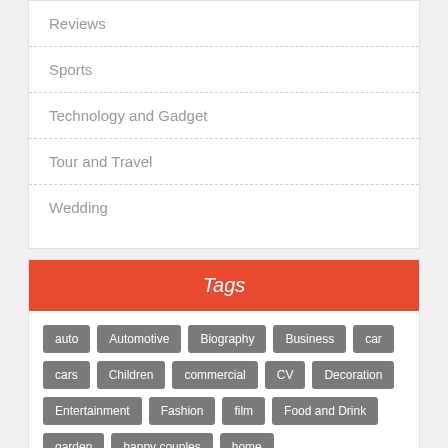Reviews
Sports
Technology and Gadget
Tour and Travel
Wedding
Tags
auto
Automotive
Biography
Business
car
cars
Children
commercial
CV
Decoration
Entertainment
Fashion
film
Food and Drink
garden
happy couples
home
Home Improvement
How to make